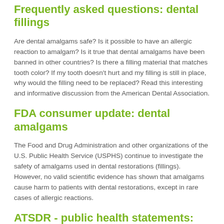Frequently asked questions: dental fillings
Are dental amalgams safe? Is it possible to have an allergic reaction to amalgam? Is it true that dental amalgams have been banned in other countries? Is there a filling material that matches tooth color? If my tooth doesn't hurt and my filling is still in place, why would the filling need to be replaced? Read this interesting and informative discussion from the American Dental Association.
FDA consumer update: dental amalgams
The Food and Drug Administration and other organizations of the U.S. Public Health Service (USPHS) continue to investigate the safety of amalgams used in dental restorations (fillings). However, no valid scientific evidence has shown that amalgams cause harm to patients with dental restorations, except in rare cases of allergic reactions.
ATSDR - public health statements: